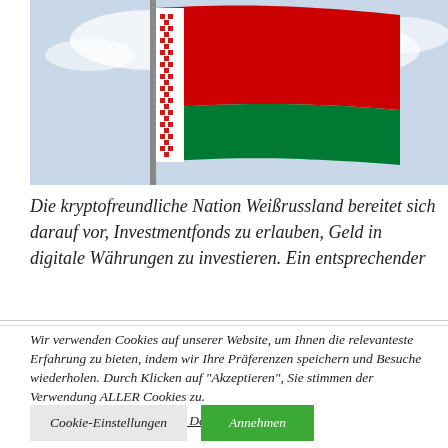[Figure (photo): Belarus (Weißrussland) national flag waving on a flagpole against a cloudy sky. The flag has horizontal red and green stripes with a white and red ornamental pattern on the left side.]
Die kryptofreundliche Nation Weißrussland bereitet sich darauf vor, Investmentfonds zu erlauben, Geld in digitale Währungen zu investieren. Ein entsprechender
Wir verwenden Cookies auf unserer Website, um Ihnen die relevanteste Erfahrung zu bieten, indem wir Ihre Präferenzen speichern und Besuche wiederholen. Durch Klicken auf "Akzeptieren", Sie stimmen der Verwendung ALLER Cookies zu.
Verkaufe meine persönlichen Daten nicht.